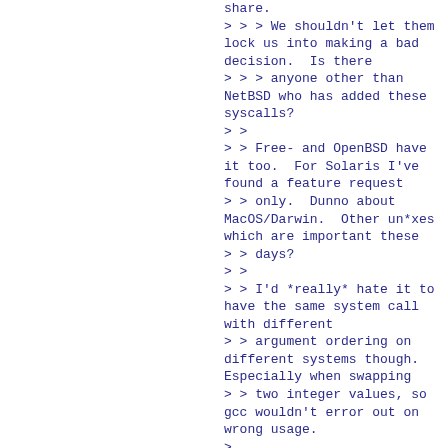share.
> > > We shouldn't let them lock us into making a bad decision.  Is there
> > > anyone other than NetBSD who has added these syscalls?
> >
> > Free- and OpenBSD have it too.  For Solaris I've found a feature request
> > only.  Dunno about MacOS/Darwin.  Other un*xes which are important these
> > days?
> >
> > I'd *really* hate it to have the same system call with different
> > argument ordering on different systems though.  Especially when swapping
> > two integer values, so gcc wouldn't error out on wrong usage.
>
> I would suggest that